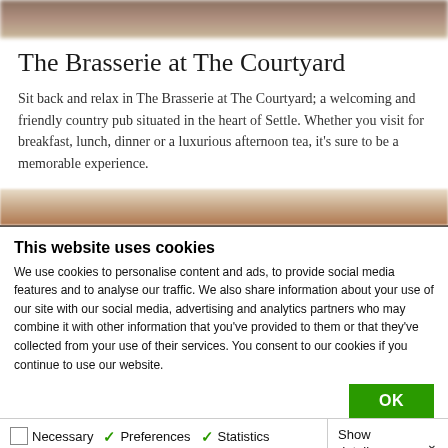[Figure (photo): Blurred top image of food or pub interior]
The Brasserie at The Courtyard
Sit back and relax in The Brasserie at The Courtyard; a welcoming and friendly country pub situated in the heart of Settle. Whether you visit for breakfast, lunch, dinner or a luxurious afternoon tea, it's sure to be a memorable experience.
[Figure (photo): Blurred middle image of food or drink]
This website uses cookies
We use cookies to personalise content and ads, to provide social media features and to analyse our traffic. We also share information about your use of our site with our social media, advertising and analytics partners who may combine it with other information that you've provided to them or that they've collected from your use of their services. You consent to our cookies if you continue to use our website.
OK
Necessary  Preferences  Statistics  Marketing  Show details